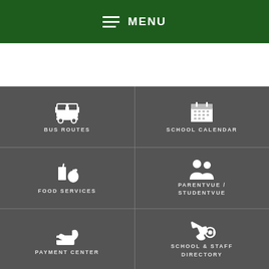MENU
[Figure (infographic): School district mobile navigation interface with six icons: Bus Routes, School Calendar, Food Services, ParentVue / StudentVue, Payment Center, School & Staff Directory]
BUS ROUTES
SCHOOL CALENDAR
FOOD SERVICES
PARENTVUE / STUDENTVUE
PAYMENT CENTER
SCHOOL & STAFF DIRECTORY